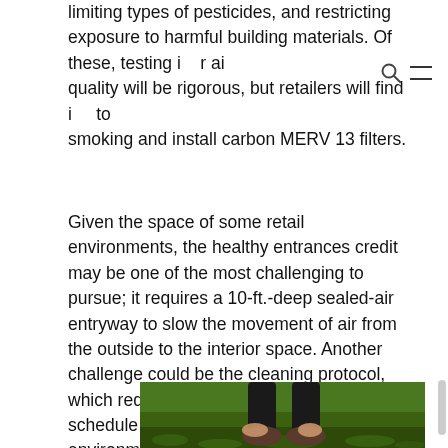limiting types of pesticides, and restricting exposure to harmful building materials. Of these, testing indoor air quality will be rigorous, but retailers will find it easy to ban smoking and install carbon MERV 13 filters.
Given the space of some retail environments, the healthy entrances credit may be one of the most challenging to pursue; it requires a 10-ft.-deep sealed-air entryway to slow the movement of air from the outside to the interior space. Another challenge could be the cleaning protocol, which requires a list of the sanitation schedule for all “high-touch” surfaces. In an environment designed to encourage people to touch and feel the merchandise, the list can be extensive.
[Figure (photo): Photo of a person in black athletic wear tying their shoe laces on a green grass background, viewed from mid-torso down.]